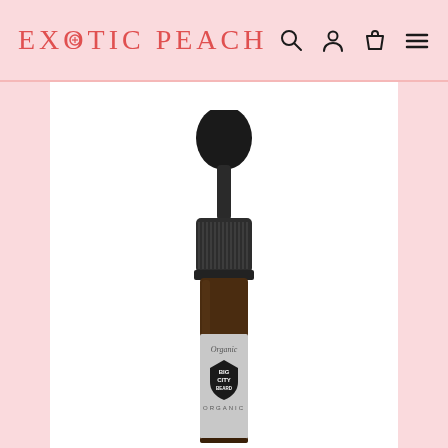EXOTIC PEACH
[Figure (photo): A small amber dropper bottle with a black dropper cap, labeled 'Big City Beard' with 'Organic' text at the top of the label. The bottle is photographed against a white background, showing the upper portion and label of the product.]